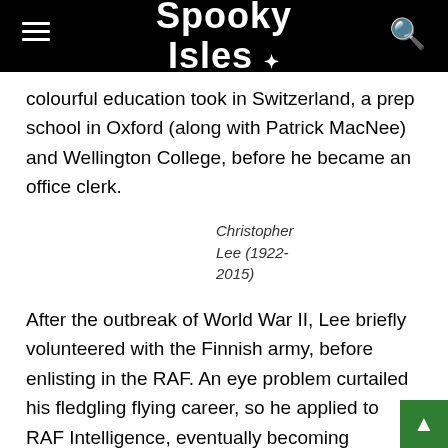Spooky Isles
colourful education took in Switzerland, a prep school in Oxford (along with Patrick MacNee) and Wellington College, before he became an office clerk.
Christopher Lee (1922-2015)
After the outbreak of World War II, Lee briefly volunteered with the Finnish army, before enlisting in the RAF. An eye problem curtailed his fledgling flying career, so he applied to RAF Intelligence, eventually becoming involved in the North African campaign. His war career alone deserves an article in itself, but suffice to say here that he found himself close to death on more than one occasion.